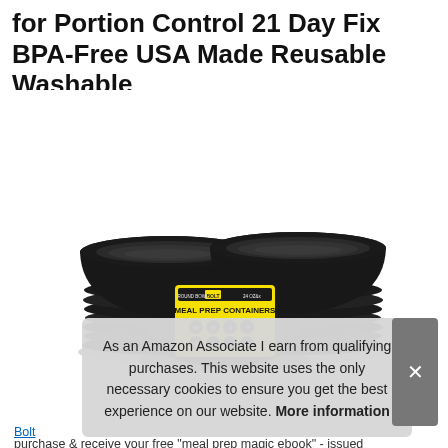for Portion Control 21 Day Fix BPA-Free USA Made Reusable Washable
[Figure (photo): Stack of black round meal prep containers/bowls with a yellow 'BOLT Goods - Meal Prep Containers' label card in front, showing multiple stacked containers in two columns]
As an Amazon Associate I earn from qualifying purchases. This website uses the only necessary cookies to ensure you get the best experience on our website. More information
Bolt ... purchase & receive your free "meal prep magic ebook" - issued